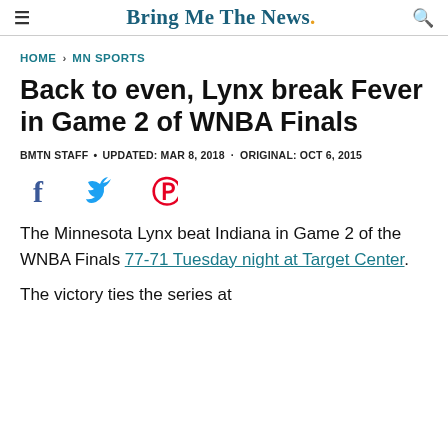Bring Me The News.
HOME › MN SPORTS
Back to even, Lynx break Fever in Game 2 of WNBA Finals
BMTN STAFF · UPDATED: MAR 8, 2018 · ORIGINAL: OCT 6, 2015
[Figure (other): Social media share icons: Facebook, Twitter, Pinterest]
The Minnesota Lynx beat Indiana in Game 2 of the WNBA Finals 77-71 Tuesday night at Target Center.
The victory ties the series at...